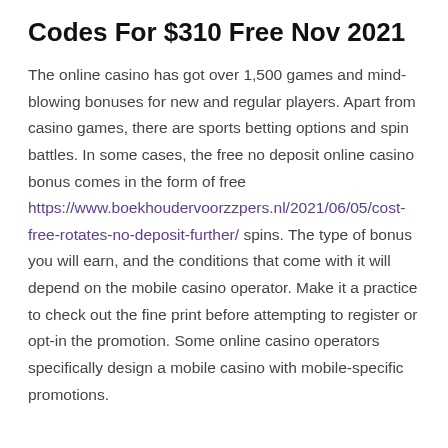Codes For $310 Free Nov 2021
The online casino has got over 1,500 games and mind-blowing bonuses for new and regular players. Apart from casino games, there are sports betting options and spin battles. In some cases, the free no deposit online casino bonus comes in the form of free https://www.boekhoudervoorzzpers.nl/2021/06/05/cost-free-rotates-no-deposit-further/ spins. The type of bonus you will earn, and the conditions that come with it will depend on the mobile casino operator. Make it a practice to check out the fine print before attempting to register or opt-in the promotion. Some online casino operators specifically design a mobile casino with mobile-specific promotions.